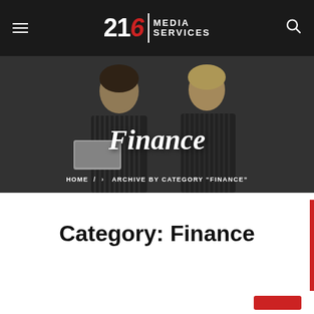216 Media Services
[Figure (photo): Two women in office setting, one brunette one blonde, dark overlay with Finance hero title]
Finance
HOME › ARCHIVE BY CATEGORY "FINANCE"
Category: Finance